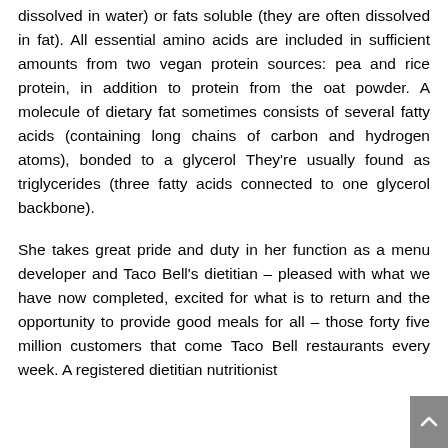dissolved in water) or fats soluble (they are often dissolved in fat). All essential amino acids are included in sufficient amounts from two vegan protein sources: pea and rice protein, in addition to protein from the oat powder. A molecule of dietary fat sometimes consists of several fatty acids (containing long chains of carbon and hydrogen atoms), bonded to a glycerol They're usually found as triglycerides (three fatty acids connected to one glycerol backbone).
She takes great pride and duty in her function as a menu developer and Taco Bell's dietitian – pleased with what we have now completed, excited for what is to return and the opportunity to provide good meals for all – those forty five million customers that come Taco Bell restaurants every week. A registered dietitian nutritionist